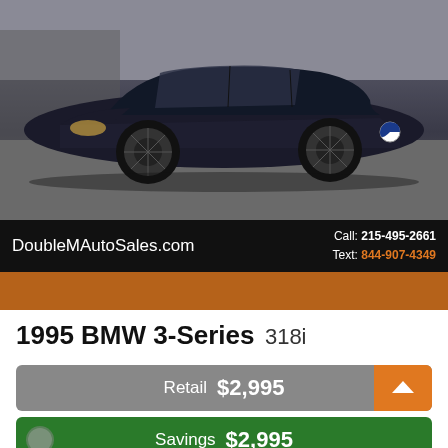[Figure (photo): Dark navy blue 1995 BMW 3-Series sedan photographed from front-left angle in a parking lot, showing the front fascia, driver side, and alloy wheels on asphalt.]
DoubleMAutoSales.com  Call: 215-495-2661  Text: 844-907-4349
1995 BMW 3-Series 318i
Retail $2,995
Savings $2,995
Text Us